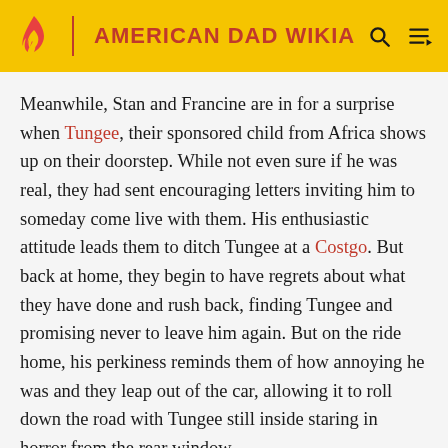AMERICAN DAD WIKIA
Meanwhile, Stan and Francine are in for a surprise when Tungee, their sponsored child from Africa shows up on their doorstep. While not even sure if he was real, they had sent encouraging letters inviting him to someday come live with them. His enthusiastic attitude leads them to ditch Tungee at a Costgo. But back at home, they begin to have regrets about what they have done and rush back, finding Tungee and promising never to leave him again. But on the ride home, his perkiness reminds them of how annoying he was and they leap out of the car, allowing it to roll down the road with Tungee still inside staring in horror from the rear window.
Episode Guide